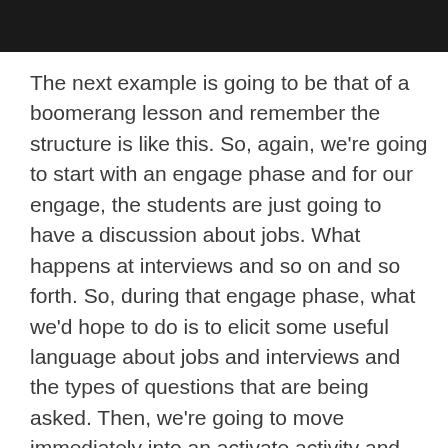The next example is going to be that of a boomerang lesson and remember the structure is like this. So, again, we're going to start with an engage phase and for our engage, the students are just going to have a discussion about jobs. What happens at interviews and so on and so forth. So, during that engage phase, what we'd hope to do is to elicit some useful language about jobs and interviews and the types of questions that are being asked. Then, we're going to move immediately into an activate activity and this is going to involve a role-play. So, we'll break the students into pairs. One will be an interviewer, the other will be an interviewee and they'll generate the language that that role-play will produce. What the teacher can do whilst the tried his role in to an example based on t